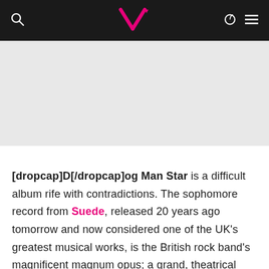V [website header with search, logo, dark mode, and menu icons]
[Figure (other): Light grey advertisement/image placeholder banner]
[dropcap]D[/dropcap]og Man Star is a difficult album rife with contradictions. The sophomore record from Suede, released 20 years ago tomorrow and now considered one of the UK's greatest musical works, is the British rock band's magnificent magnum opus; a grand, theatrical collection of symphonic anthems and raw sexual emotion that was plagued by turmoil but defied